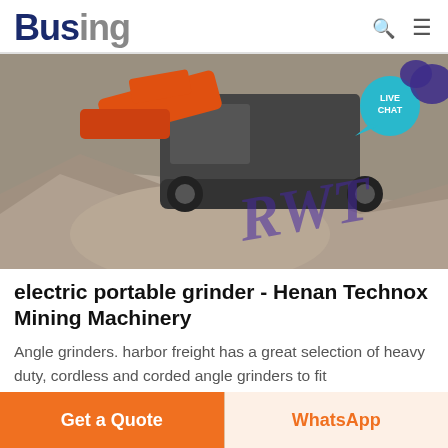Busing
[Figure (photo): Mining machinery / crusher equipment surrounded by stone aggregate and gravel piles, with a watermark text 'RWT' overlaid in purple. A live chat bubble is visible in the top right corner.]
electric portable grinder - Henan Technox Mining Machinery
Angle grinders. harbor freight has a great selection of heavy duty, cordless and corded angle grinders to fit
Get a Quote    WhatsApp